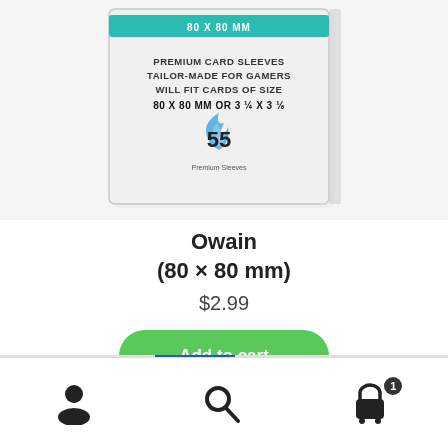[Figure (photo): Product package photo showing a card sleeve box with teal banner reading '80 X 80 MM'. Text on box: 'PREMIUM CARD SLEEVES TAILOR-MADE FOR GAMERS WILL FIT CARDS OF SIZE 80 X 80 MM OR 3¼ X 3⅛'. Logo with flame and number 55 labeled 'Premium Sleeves'.]
Owain
(80 × 80 mm)
$2.99
Add to cart